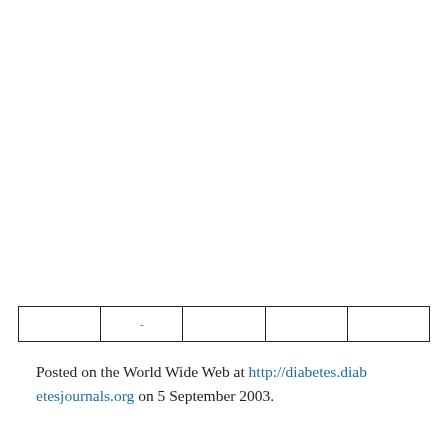|  |  |  |  |  |
Posted on the World Wide Web at http://diabetes.diabetesjournals.org on 5 September 2003.
C.P. and H.Q. contributed equally to this article.
Article Information
This site uses cookies. By continuing to use our website, you are agreeing to our privacy policy. Accept
by the Canadian Institutes of Health Research. C.P.